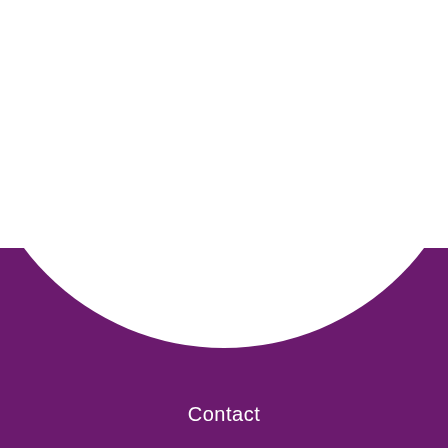UPMC | HEALTH BEAT  MENU
Follow Us
[Figure (illustration): Five social media icon circles: Facebook (blue), Twitter (light blue), Pinterest (red), Instagram (gradient orange/pink/purple), LinkedIn (teal/blue). All circular icons arranged in a row.]
[Figure (illustration): Large white semicircular arc cutout on a dark purple background]
Contact